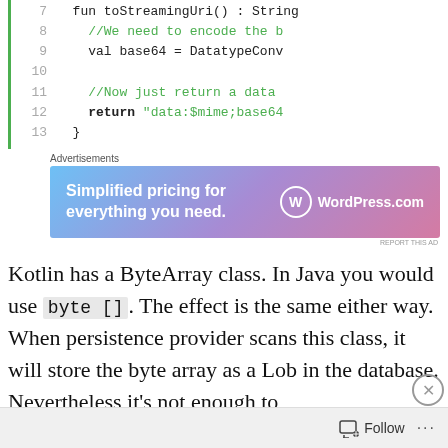Code snippet lines 7-13: fun toStreamingUri(): String, //We need to encode the b, val base64 = DatatypeConv, //Now just return a data, return "data:$mime;base64, }
[Figure (screenshot): Advertisement banner: Simplified pricing for everything you need. WordPress.com]
Kotlin has a ByteArray class. In Java you would use byte []. The effect is the same either way. When persistence provider scans this class, it will store the byte array as a Lob in the database. Nevertheless it's not enough to
[Figure (screenshot): Bottom advertisement banner with SHOP button]